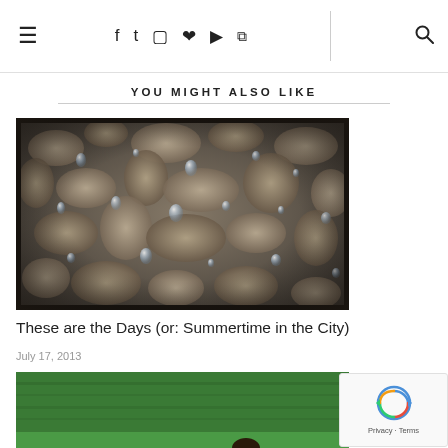≡  f  Twitter  Instagram  Pinterest  YouTube  RSS  | 🔍
YOU MIGHT ALSO LIKE
[Figure (photo): Close-up photograph of wet stones and pebbles on the ground with water droplets, faded vintage tone]
These are the Days (or: Summertime in the City)
July 17, 2013
[Figure (photo): Partial photo showing green grass background with a person visible at the bottom — cropped, second article thumbnail]